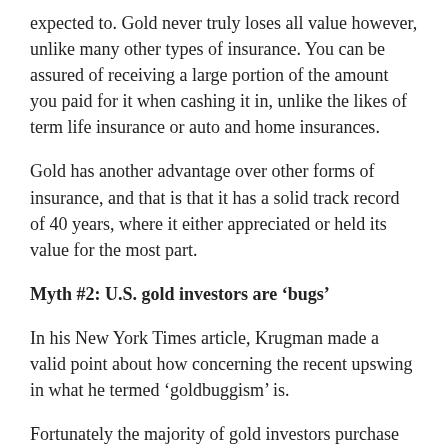expected to. Gold never truly loses all value however, unlike many other types of insurance. You can be assured of receiving a large portion of the amount you paid for it when cashing it in, unlike the likes of term life insurance or auto and home insurances.
Gold has another advantage over other forms of insurance, and that is that it has a solid track record of 40 years, where it either appreciated or held its value for the most part.
Myth #2: U.S. gold investors are ‘bugs’
In his New York Times article, Krugman made a valid point about how concerning the recent upswing in what he termed ‘goldbuggism’ is.
Fortunately the majority of gold investors purchase gold for wealth protection and not for the potential for it to appreciate, and have no time for the politics surrounding gold bugs.